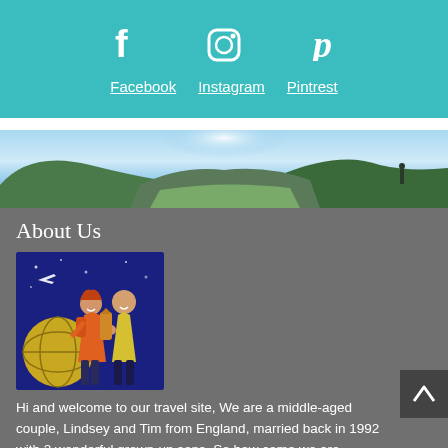[Figure (infographic): Teal header bar with Facebook (f), Instagram (camera), and Pinterest (p) social media icons above their respective text links]
Facebook
Instagram
Pintrest
[Figure (photo): Panoramic landscape photo of rolling green hills and valley with bright sky]
About Us
[Figure (illustration): Cartoon illustration of two travelers (a woman and a man with backpacks) in front of a globe on a dark blue background]
Hi and welcome to our travel site, We are a middle-aged couple, Lindsey and Tim from England, married back in 1992 with 2 wonderful grown-up sons. So how come we are travelling around the world?
Read More